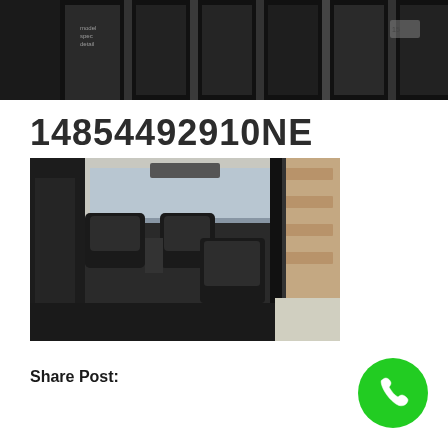[Figure (photo): Top banner photo showing a row of vehicles or black curtains/fencing in a dark setting]
14854492910NE
[Figure (photo): Interior of a van/minibus viewed from the rear, showing dark seats and windshield with brick building visible outside]
Share Post:
[Figure (other): Green circular phone/call button icon]